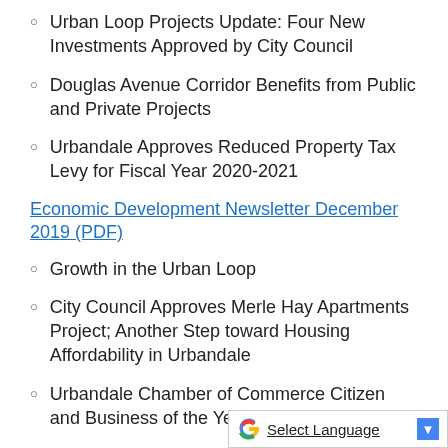Urban Loop Projects Update: Four New Investments Approved by City Council
Douglas Avenue Corridor Benefits from Public and Private Projects
Urbandale Approves Reduced Property Tax Levy for Fiscal Year 2020-2021
Economic Development Newsletter December 2019 (PDF)
Growth in the Urban Loop
City Council Approves Merle Hay Apartments Project; Another Step toward Housing Affordability in Urbandale
Urbandale Chamber of Commerce Citizen and Business of the Year
Economic Development Newsletter July 2019 (PDF)
City of Urbandale Polk County Voters to Consider Local Option Sales Tax on Aug
Select Language